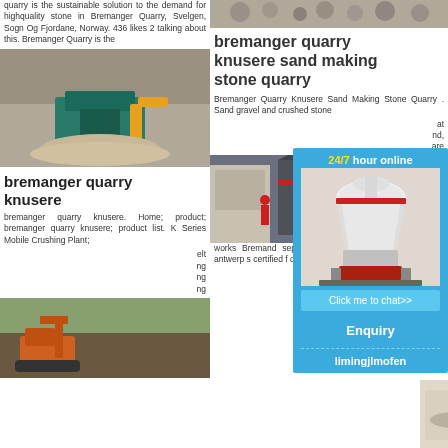bremanger quarry knusere
quarry is the sustainable solution to the demand for highquality stone in Bremanger Quarry, Svelgen, Sogn Og Fjordane, Norway. 436 likes 2 talking about this. Bremanger Quarry is the
[Figure (photo): Quarry machinery/crusher operating at a quarry site]
bremanger quarry knusere
bremanger quarry knusere. Home; product; bremanger quarry knusere; product list. K Series Mobile Crushing Plant;
elt ng ng ng
[Figure (photo): Excavator at quarry/forest site]
[Figure (photo): Stones/gravel close-up]
bremanger quarry knusere sand making stone quarry
Bremanger Quarry Knusere Sand Making Stone Quarry . Sand gravel and crushed stone
at nd are
[Figure (photo): Industrial stone crushing/sand making machinery]
works Bremand separated Knusere the differ aggregate antwerp s certified f dutch ma
[Figure (infographic): 24/7 hour online chat overlay with cone crusher image, Click me to chat>> button, Enquiry section and limingjlmofen text]
[Figure (photo): Stone/gravel bags at bottom right]